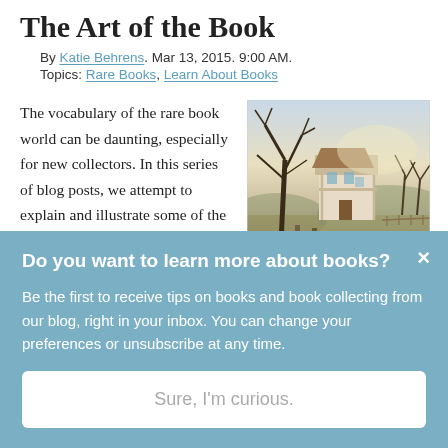The Art of the Book
By Katie Behrens. Mar 13, 2015. 9:00 AM.
Topics: Rare Books, Learn About Books
The vocabulary of the rare book world can be daunting, especially for new collectors. In this series of blog posts, we attempt to explain and illustrate some of the basic terminology. Our last post
[Figure (photo): Oil painting of a farmhouse scene in autumn/winter with a large tree, horses, people, and a country house in the background under a pale sky.]
Do you want to learn more about books?
Be the first to receive tips on books and book collecting from our blog, right in your inbox. You can change your preferences or unsubscribe at any time.
Sure, I'm curious.